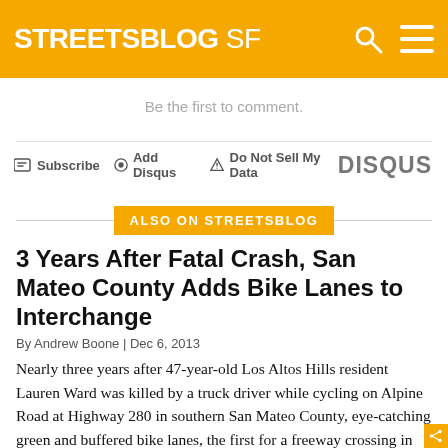STREETSBLOG SF
Be the first to comment.
Subscribe  Add Disqus  Do Not Sell My Data  DISQUS
ALSO ON STREETSBLOG
3 Years After Fatal Crash, San Mateo County Adds Bike Lanes to Interchange
By Andrew Boone | Dec 6, 2013
Nearly three years after 47-year-old Los Altos Hills resident Lauren Ward was killed by a truck driver while cycling on Alpine Road at Highway 280 in southern San Mateo County, eye-catching green and buffered bike lanes, the first for a freeway crossing in California, were finally